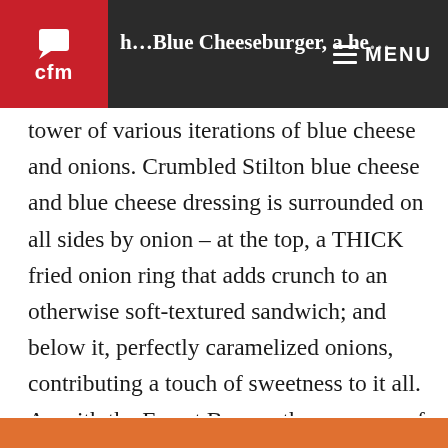cfm | …h…Blue Cheeseburger, a he… MENU
tower of various iterations of blue cheese and onions. Crumbled Stilton blue cheese and blue cheese dressing is surrounded on all sides by onion – at the top, a THICK fried onion ring that adds crunch to an otherwise soft-textured sandwich; and below it, perfectly caramelized onions, contributing a touch of sweetness to it all. As with the Forest Burger, the greenery of the frisée and Bibb lettuce is almost an afterthought but the fresh element is most welcome with this equally-messy burger.